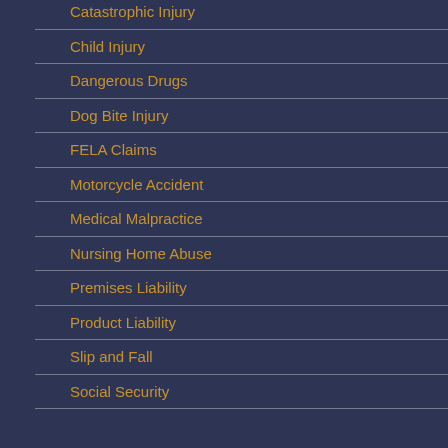Catastrophic Injury
Child Injury
Dangerous Drugs
Dog Bite Injury
FELA Claims
Motorcycle Accident
Medical Malpractice
Nursing Home Abuse
Premises Liability
Product Liability
Slip and Fall
Social Security